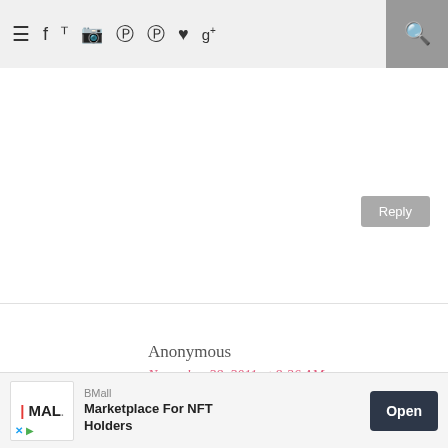≡ f 🐦 📷 𝖯 𝖯 ♥ g+ 🔍
Gorgeous and the tutorial is great! Thanks so much for sharing!
Reply
Anonymous
November 28, 2011 at 8:26 AM
I only see six different fabrics for the quilt when it was layed out,the seventh must be for the binding.
Reply
[Figure (other): BMall advertisement banner with logo and 'Marketplace For NFT Holders' text and Open button]